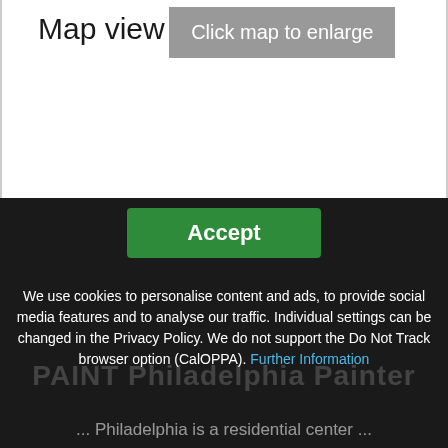Map view
[Figure (other): A grey button labeled 'Click map to enlarge' on a white background, representing an interactive map placeholder area.]
Accept
We use cookies to personalise content and ads, to provide social media features and to analyse our traffic. Individual settings can be changed in the Privacy Policy. We do not support the Do Not Track browser option (CalOPPA). Further Information
PAINT Philadelphia Painter
... Philadelphia is a residential center ...